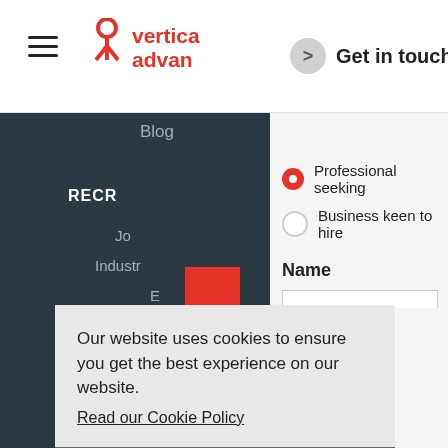[Figure (screenshot): Website screenshot showing Vertica Advance recruitment website header with hamburger menu, logo, Get in touch button, dark navigation panel with Blog, RECR..., GET IN TOUCH red vertical button, and a cookie consent banner overlay. Right panel shows a contact form with radio buttons for 'Professional seeking...' and 'Business keen to hire...' and a Name field.]
Our website uses cookies to ensure you get the best experience on our website.
Read our Cookie Policy
OK